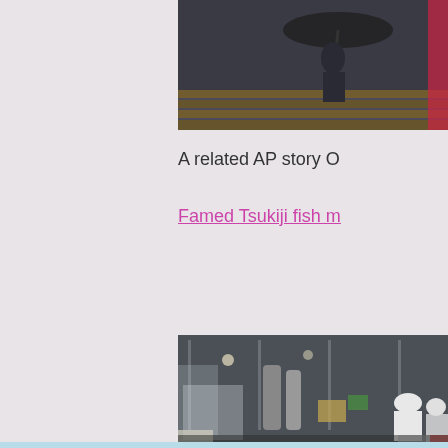[Figure (photo): Partial photo at top right showing a person with an umbrella on a wooden deck, dark background]
A related AP story O
Famed Tsukiji fish m
[Figure (photo): Photo of workers in white coats and protective gear working in what appears to be a fish market or food processing facility with industrial equipment and plastic sheeting]